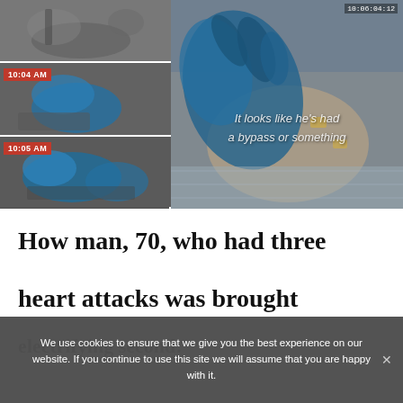[Figure (photo): Collage of medical emergency photos: top-left shows patient being treated, middle-left shows medical staff with blue gloves at 10:04 AM, bottom-left shows procedure at 10:05 AM, right side shows close-up of patient chest with blue gloved hand and text overlay 'It looks like he's had a bypass or something', timecode 10:06:04:12]
How man, 70, who had three heart attacks was brought
electrifying second:
Sensation him TV
We use cookies to ensure that we give you the best experience on our website. If you continue to use this site we will assume that you are happy with it.